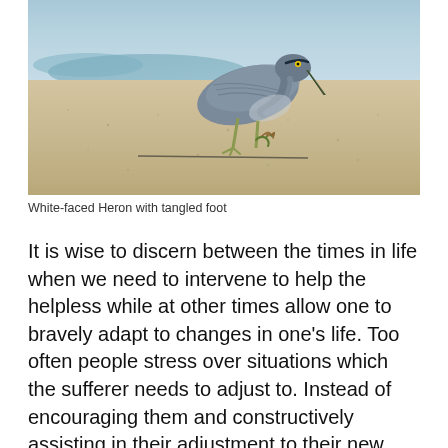[Figure (photo): A White-faced Heron standing on a sandy beach with one foot tangled, viewed from the side. The bird has grey-blue plumage and is walking on sand with water visible in the background.]
White-faced Heron with tangled foot
It is wise to discern between the times in life when we need to intervene to help the helpless while at other times allow one to bravely adapt to changes in one's life. Too often people stress over situations which the sufferer needs to adjust to. Instead of encouraging them and constructively assisting in their adjustment to their new normal, they try to 'save' them and mollycoddle them which is counterproductive, and may even add insult